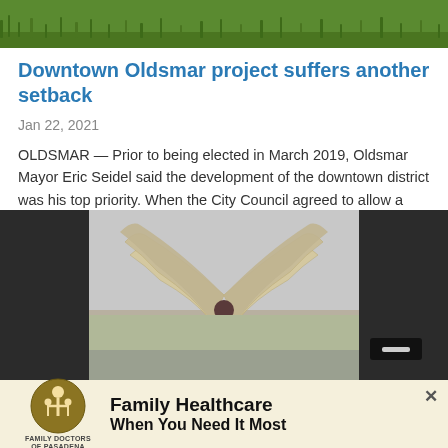[Figure (photo): Green grass lawn photo at the top of the article]
Downtown Oldsmar project suffers another setback
Jan 22, 2021
OLDSMAR — Prior to being elected in March 2019, Oldsmar Mayor Eric Seidel said the development of the downtown district was his top priority. When the City Council agreed to allow a local developer to build a boutique hotel, complete with rooftop bar and parking garage, on a portion of the 1…
[Figure (photo): Person standing in front of large decorative angel wings sculpture outdoors, dark background on sides]
[Figure (photo): Advertisement banner: Family Doctors of Pasadena — Family Healthcare When You Need It Most]